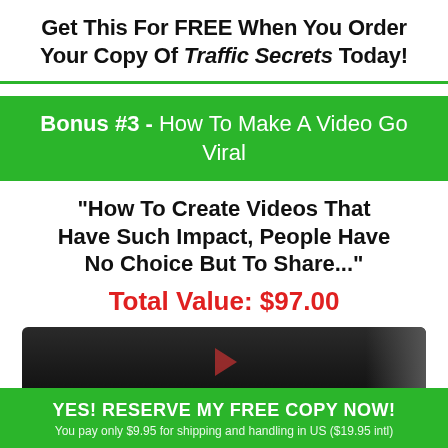Get This For FREE When You Order Your Copy Of Traffic Secrets Today!
Bonus #3 - How To Make A Video Go Viral
"How To Create Videos That Have Such Impact, People Have No Choice But To Share..."
Total Value: $97.00
[Figure (screenshot): Dark video thumbnail/player preview]
YES! RESERVE MY FREE COPY NOW! You pay only $9.95 for shipping and handling in US ($19.95 intl)